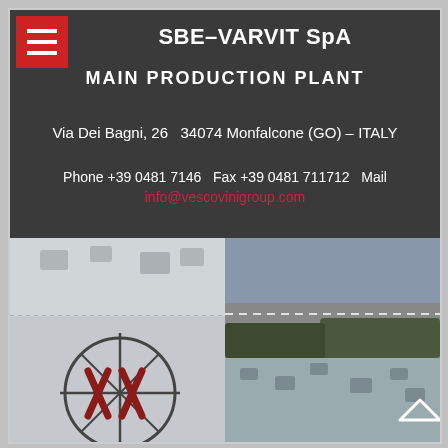SBE–VARVIT SpA
MAIN PRODUCTION PLANT
Via Dei Bagni, 26   34074 Monfalcone (GO) – ITALY
Phone +39 0481 7146   Fax +39 0481 711712   Mail info@vescovinigroup.com
[Figure (photo): Aerial/exterior photo of SBE-VARVIT SpA main production plant building with company logo (XX in circle) on the facade, rooftop view, and surrounding landscape with road and water in background.]